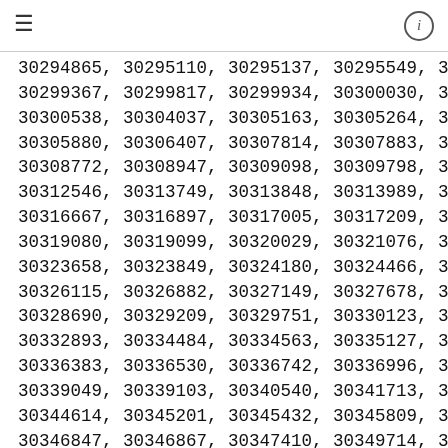≡  ℹ
30294865, 30295110, 30295137, 30295549, 3...
30299367, 30299817, 30299934, 30300030, 3...
30300538, 30304037, 30305163, 30305264, 3...
30305880, 30306407, 30307814, 30307883, 3...
30308772, 30308947, 30309098, 30309798, 3...
30312546, 30313749, 30313848, 30313989, 3...
30316667, 30316897, 30317005, 30317209, 3...
30319080, 30319099, 30320029, 30321076, 3...
30323658, 30323849, 30324180, 30324466, 3...
30326115, 30326882, 30327149, 30327678, 3...
30328690, 30329209, 30329751, 30330123, 3...
30332893, 30334484, 30334563, 30335127, 3...
30336383, 30336530, 30336742, 30336996, 3...
30339049, 30339103, 30340540, 30341713, 3...
30344614, 30345201, 30345432, 30345809, 3...
30346847, 30346867, 30347410, 30349714, 3...
30352581, 30352623, 30352715, 30355490, 3...